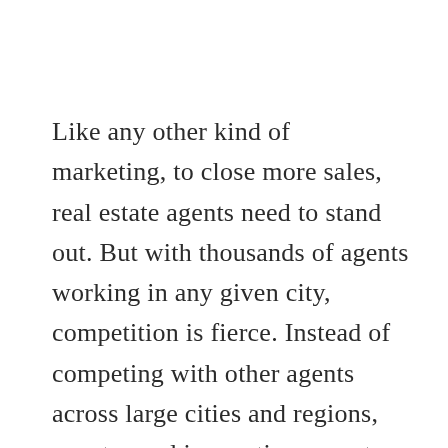Like any other kind of marketing, to close more sales, real estate agents need to stand out. But with thousands of agents working in any given city, competition is fierce. Instead of competing with other agents across large cities and regions, agents need innovative ways to get the attention of local residents. Knocking on doors alone won't cut it.